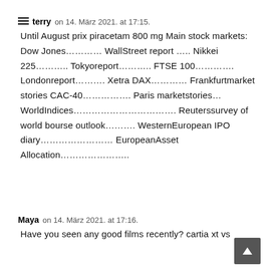terry on 14. März 2021. at 17:15.
Until August prix piracetam 800 mg Main stock markets: Dow Jones………… WallStreet report ….. Nikkei 225……….. Tokyoreport……….. FTSE 100…………. Londonreport………. Xetra DAX………… Frankfurtmarket stories CAC-40……………. Paris marketstories… WorldIndices……………………………. Reuterssurvey of world bourse outlook………. WesternEuropean IPO diary…………………… EuropeanAsset Allocation…………………..
Maya on 14. März 2021. at 17:16.
Have you seen any good films recently? cartia xt vs